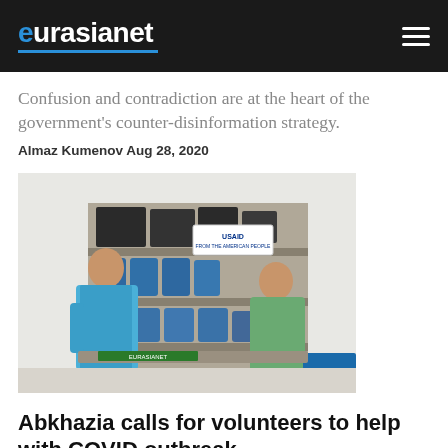eurasianet
Confusion and contradiction are at the heart of the government’s counter-disinformation strategy.
Almaz Kumenov Aug 28, 2020
[Figure (photo): Two women standing in front of shelves stocked with blue containers and boxes, with a USAID logo visible on a banner in the background.]
Abkhazia calls for volunteers to help with COVID outbreak
Many in the territory blame the rising numbers of coronavirus cases on the authorities’ decision to open up